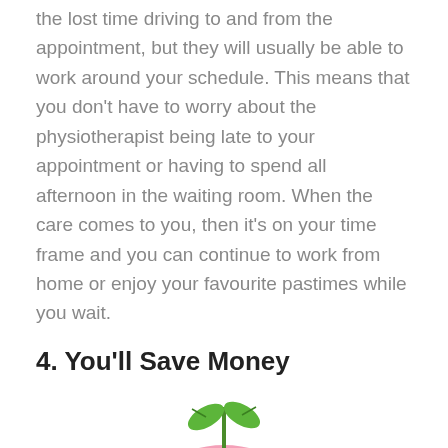the lost time driving to and from the appointment, but they will usually be able to work around your schedule. This means that you don't have to worry about the physiotherapist being late to your appointment or having to spend all afternoon in the waiting room. When the care comes to you, then it's on your time frame and you can continue to work from home or enjoy your favourite pastimes while you wait.
4. You'll Save Money
[Figure (photo): A pink ceramic piggy bank with a small green seedling plant growing out of the top, photographed on a white background.]